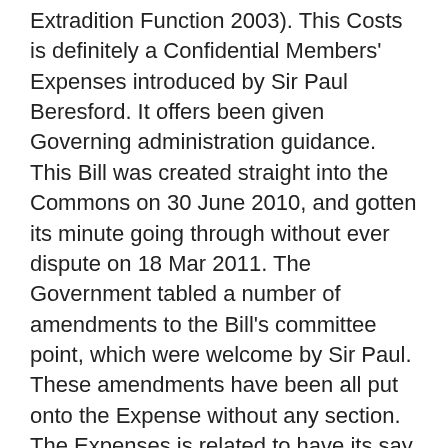Extradition Function 2003). This Costs is definitely a Confidential Members' Expenses introduced by Sir Paul Beresford. It offers been given Governing administration guidance. This Bill was created straight into the Commons on 30 June 2010, and gotten its minute going through without ever dispute on 18 Mar 2011. The Government tabled a number of amendments to the Bill's committee point, which were welcome by Sir Paul. These amendments have been all put onto the Expense without any section. The Expenses is related to have its say state on Fri 21 October 2011. pThe creation of the vicinity of Liberation, Safety and security and Justice is founded on the Tampere (1999-04), Hague (2004-09) and Stockholm (2010-14) programmes. It gets in the pre-Lisbon Name IV TEC (Visas, asylum, immigration